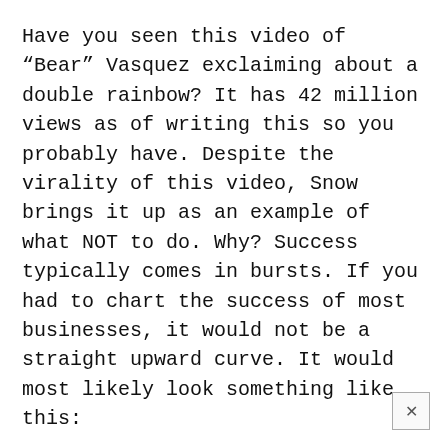Have you seen this video of “Bear” Vasquez exclaiming about a double rainbow? It has 42 million views as of writing this so you probably have. Despite the virality of this video, Snow brings it up as an example of what NOT to do. Why? Success typically comes in bursts. If you had to chart the success of most businesses, it would not be a straight upward curve. It would most likely look something like this: